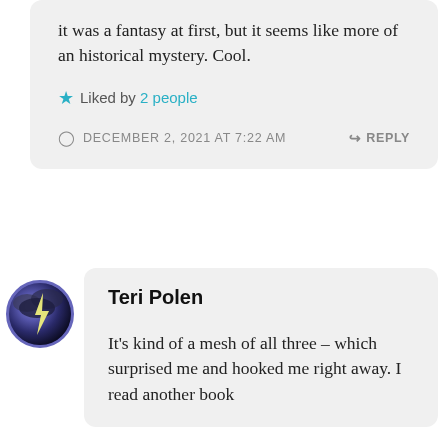it was a fantasy at first, but it seems like more of an historical mystery. Cool.
★ Liked by 2 people
DECEMBER 2, 2021 AT 7:22 AM
↪ REPLY
[Figure (photo): Circular avatar with dark stormy sky and lightning bolt image, purple-blue border]
Teri Polen
It's kind of a mesh of all three – which surprised me and hooked me right away. I read another book